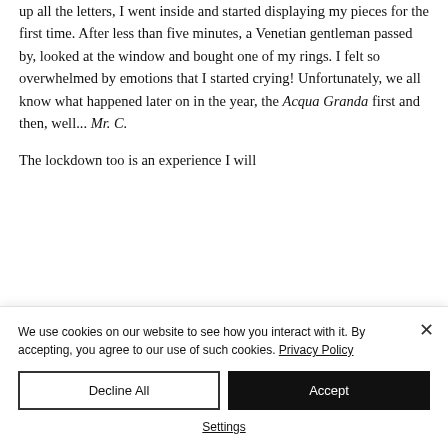up all the letters, I went inside and started displaying my pieces for the first time. After less than five minutes, a Venetian gentleman passed by, looked at the window and bought one of my rings. I felt so overwhelmed by emotions that I started crying! Unfortunately, we all know what happened later on in the year, the Acqua Granda first and then, well... Mr. C.
The lockdown too is an experience I will
We use cookies on our website to see how you interact with it. By accepting, you agree to our use of such cookies. Privacy Policy